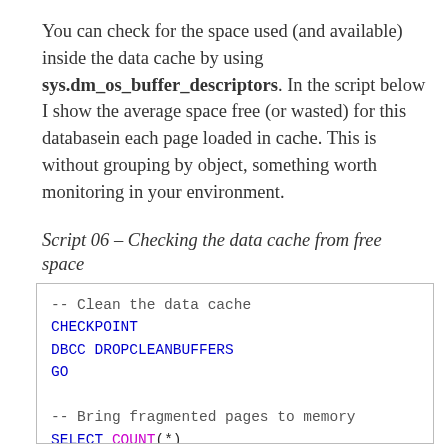You can check for the space used (and available) inside the data cache by using sys.dm_os_buffer_descriptors. In the script below I show the average space free (or wasted) for this databasein each page loaded in cache. This is without grouping by object, something worth monitoring in your environment.
Script 06 – Checking the data cache from free space
-- Clean the data cache
CHECKPOINT
DBCC DROPCLEANBUFFERS
GO

-- Bring fragmented pages to memory
SELECT COUNT(*)
FROM dbo.HistoricalTable
WHERE ID >= 98000
GO